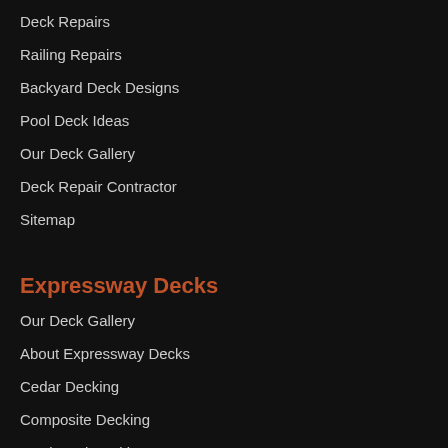Deck Repairs
Railing Repairs
Backyard Deck Designs
Pool Deck Ideas
Our Deck Gallery
Deck Repair Contractor
Sitemap
Expressway Decks
Our Deck Gallery
About Expressway Decks
Cedar Decking
Composite Decking
Hardwood Decking
Ipe Decking
Mahogany Decking
Pressure-Treated Decking